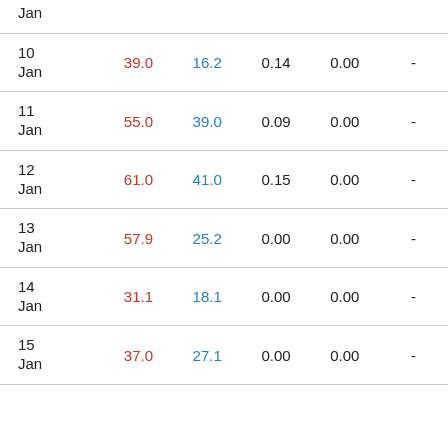| Date | High | Low | Precip | Snow |  |
| --- | --- | --- | --- | --- | --- |
| Jan |  |  |  |  |  |
| 10 Jan | 39.0 | 16.2 | 0.14 | 0.00 | - |
| 11 Jan | 55.0 | 39.0 | 0.09 | 0.00 | - |
| 12 Jan | 61.0 | 41.0 | 0.15 | 0.00 | - |
| 13 Jan | 57.9 | 25.2 | 0.00 | 0.00 | - |
| 14 Jan | 31.1 | 18.1 | 0.00 | 0.00 | - |
| 15 Jan | 37.0 | 27.1 | 0.00 | 0.00 | - |